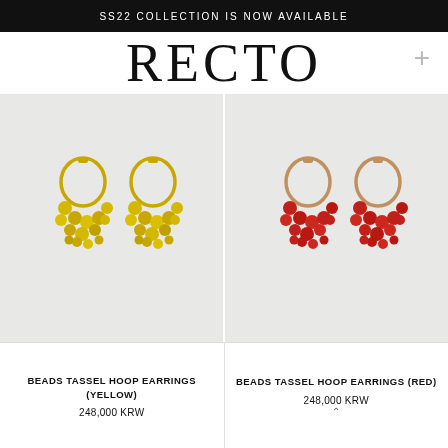SS22 COLLECTION IS NOW AVAILABLE
RECTO
[Figure (photo): Two yellow gold hoop earrings with beaded tassels on light grey background]
[Figure (photo): Two red hoop earrings with beaded tassels on light grey background]
BEADS TASSEL HOOP EARRINGS (YELLOW)
248,000 KRW
BEADS TASSEL HOOP EARRINGS (RED)
248,000 KRW